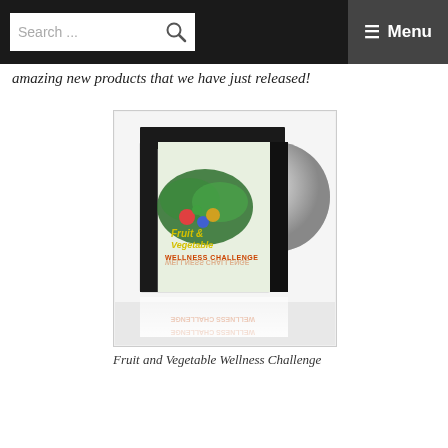Search ... ☰ Menu
amazing new products that we have just released!
[Figure (photo): CD/DVD case product image for Fruit and Vegetable Wellness Challenge, showing a jewel case with fruits and vegetables on the cover and a disc peeking out, with a reflection below]
Fruit and Vegetable Wellness Challenge